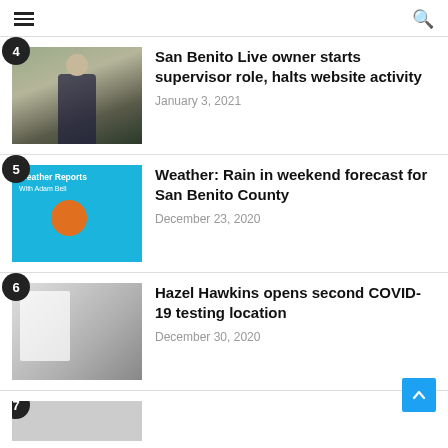Navigation menu and search
4 — San Benito Live owner starts supervisor role, halts website activity — January 3, 2021
5 — Weather: Rain in weekend forecast for San Benito County — December 23, 2020
6 — Hazel Hawkins opens second COVID-19 testing location — December 30, 2020
7 — (partial, cut off)